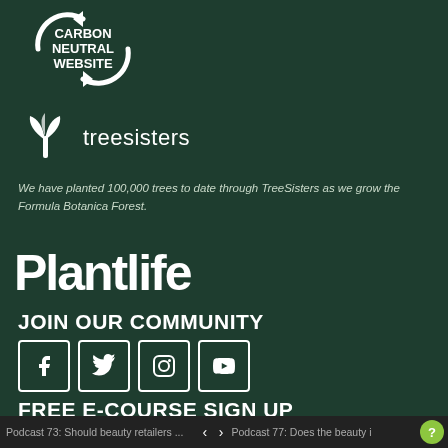[Figure (logo): Carbon Neutral Website logo — circular arrows with text CARBON NEUTRAL WEBSITE in white on dark green background]
[Figure (logo): TreeSisters logo — white leaf/plant icon with text 'treesisters' in white]
We have planted 100,000 trees to date through TreeSisters as we grow the Formula Botanica Forest.
[Figure (logo): Plantlife logo in large bold white stylized text]
JOIN OUR COMMUNITY
[Figure (infographic): Four social media icon buttons: Facebook, Twitter, Instagram, YouTube — white outlined squares with icons]
FREE E-COURSE SIGN UP
Podcast 73: Should beauty retailers ...  < >  Podcast 77: Does the beauty i  ?  First Name *